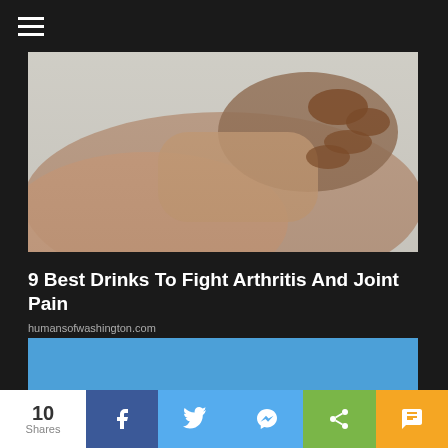[Figure (photo): Close-up of a person holding their wrist/forearm, suggesting joint pain or arthritis.]
9 Best Drinks To Fight Arthritis And Joint Pain
humansofwashington.com
[Figure (photo): Blue background image, partially visible, appearing to be the next article or advertisement.]
10 Shares